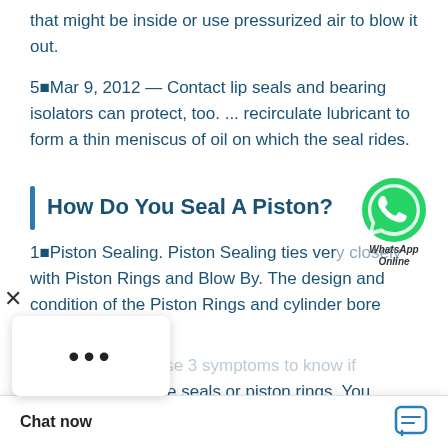that might be inside or use pressurized air to blow it out.
5 Mar 9, 2012 — Contact lip seals and bearing isolators can protect, too. ... recirculate lubricant to form a thin meniscus of oil on which the seal rides.
How Do You Seal A Piston?
[Figure (logo): WhatsApp green phone icon with 'WhatsApp Online' text]
1 Piston Sealing. Piston Sealing ties very closely with Piston Rings and Blow By. The design and condition of the Piston Rings and cylinder bore determines ...
ay attention to these 3 symptoms to know if you have bad valve seals or piston rings. You
cost before...
of combined
Chat now